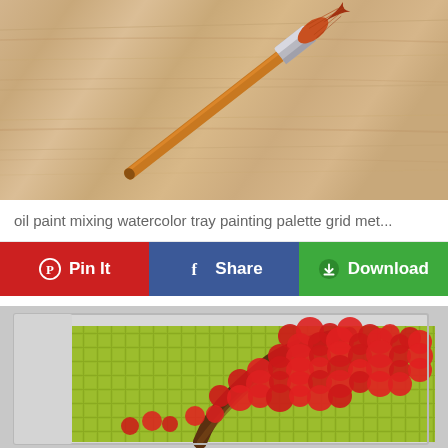[Figure (photo): A paint brush with orange/red bristles lying on a wood grain surface, photographed from above]
oil paint mixing watercolor tray painting palette grid met...
Pin It | Share | Download — action buttons
[Figure (photo): A framed canvas painting showing a tree with red blossoms (red flowers) on a green/gold textured background, textured impasto style]